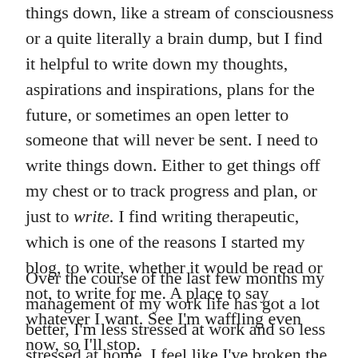things down, like a stream of consciousness or a quite literally a brain dump, but I find it helpful to write down my thoughts, aspirations and inspirations, plans for the future, or sometimes an open letter to someone that will never be sent. I need to write things down. Either to get things off my chest or to track progress and plan, or just to write. I find writing therapeutic, which is one of the reasons I started my blog, to write, whether it would be read or not, to write for me. A place to say whatever I want. See I'm waffling even now, so I'll stop.
Over the course of the last few months my management of my work life has got a lot better, I'm less stressed at work and so less stressed at home. I feel like I've broken the incessant repetitive pattern